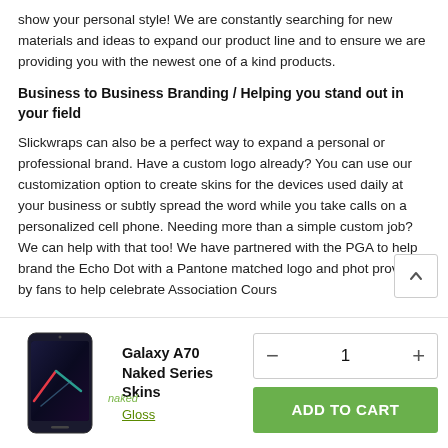show your personal style! We are constantly searching for new materials and ideas to expand our product line and to ensure we are providing you with the newest one of a kind products.
Business to Business Branding / Helping you stand out in your field
Slickwraps can also be a perfect way to expand a personal or professional brand. Have a custom logo already? You can use our customization option to create skins for the devices used daily at your business or subtly spread the word while you take calls on a personalized cell phone. Needing more than a simple custom job? We can help with that too! We have partnered with the PGA to help brand the Echo Dot with a Pantone matched logo and phot provided by fans to help celebrate Association Cours
[Figure (other): Galaxy A70 phone product image with 'naked' label in green italic]
Galaxy A70 Naked Series Skins
Gloss
- 1 +
ADD TO CART